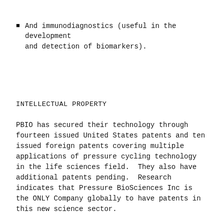And immunodiagnostics (useful in the development and detection of biomarkers).
INTELLECTUAL PROPERTY
PBIO has secured their technology through fourteen issued United States patents and ten issued foreign patents covering multiple applications of pressure cycling technology in the life sciences field.  They also have additional patents pending.  Research indicates that Pressure BioSciences Inc is the ONLY Company globally to have patents in this new science sector.